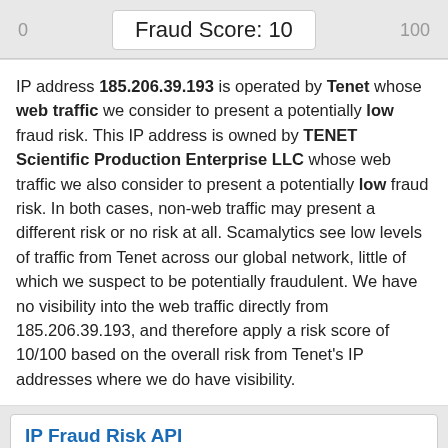0   Fraud Score: 10   100
IP address 185.206.39.193 is operated by Tenet whose web traffic we consider to present a potentially low fraud risk. This IP address is owned by TENET Scientific Production Enterprise LLC whose web traffic we also consider to present a potentially low fraud risk. In both cases, non-web traffic may present a different risk or no risk at all. Scamalytics see low levels of traffic from Tenet across our global network, little of which we suspect to be potentially fraudulent. We have no visibility into the web traffic directly from 185.206.39.193, and therefore apply a risk score of 10/100 based on the overall risk from Tenet's IP addresses where we do have visibility.
IP Fraud Risk API